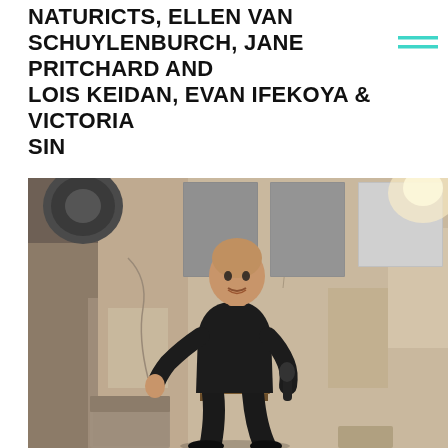NATURICTS, ELLEN VAN SCHUYLENBURCH, JANE PRITCHARD AND LOIS KEIDAN, EVAN IFEKOYA & VICTORIA SIN
[Figure (photo): A bald man dressed in all black sits on a wooden chair holding a microphone, gesturing with one hand, against a rustic stone/concrete wall with large metal or grey panels mounted on it. The setting appears to be an industrial or historic venue. The lighting is warm.]